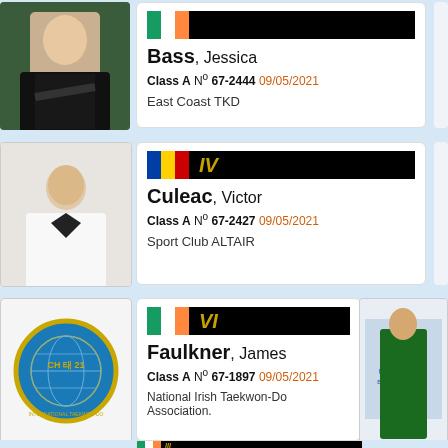Bass, Jessica
Class A N° 67-2444 09/05/2021
East Coast TKD
[Figure (photo): Photo of Jessica Bass, female athlete in black jacket]
[Figure (logo): International Taekwon-Do Federation logo circle]
Culeac, Victor
Class A N° 67-2427 09/05/2021
Sport Club ALTAIR
[Figure (photo): Photo of Victor Culeac, male athlete in white dobok]
[Figure (logo): International Taekwon-Do Federation logo circle]
Faulkner, James
Class A N° 67-1897 09/05/2021
National Irish Taekwon-Do Association.
[Figure (logo): International Taekwon-Do Federation circular logo]
[Figure (photo): Photo of James Faulkner at World Championships Buenos Aires]